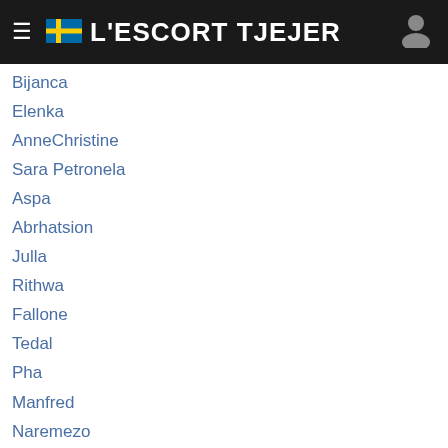L'ESCORT TJEJER
Bijanca
Elenka
AnneChristine
Sara Petronela
Aspa
Abrhatsion
Julla
Rithwa
Fallone
Tedal
Pha
Manfred
Naremezo
Friedlieb
Misho
Meheretab
Khajik
Elisepa
Saikam
Nhu-Chi
Kodlye
Nomidia